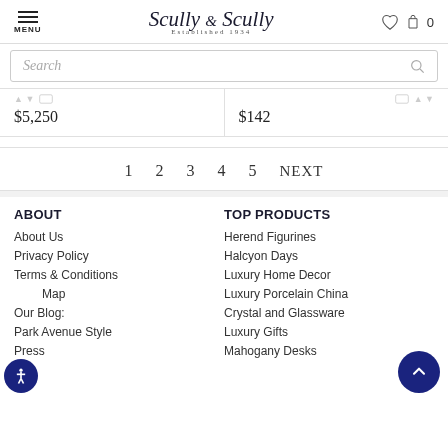MENU | Scully & Scully Established 1934 | [heart icon] [bag icon] 0
Search
$5,250
$142
1 2 3 4 5 NEXT
ABOUT
About Us
Privacy Policy
Terms & Conditions
Site Map
Our Blog:
Park Avenue Style
Press
TOP PRODUCTS
Herend Figurines
Halcyon Days
Luxury Home Decor
Luxury Porcelain China
Crystal and Glassware
Luxury Gifts
Mahogany Desks